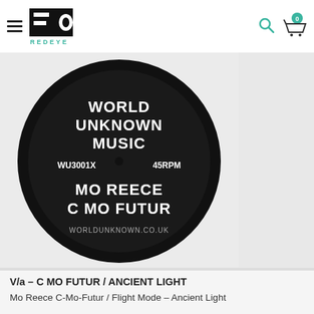REDEYE
[Figure (illustration): Vinyl record label showing: WORLD UNKNOWN MUSIC, WU3001X, 45RPM, MO REECE C MO FUTUR, WORLDUNKNOWN.CO.UK]
V/a – C MO FUTUR / ANCIENT LIGHT
Mo Reece C-Mo-Futur / Flight Mode – Ancient Light